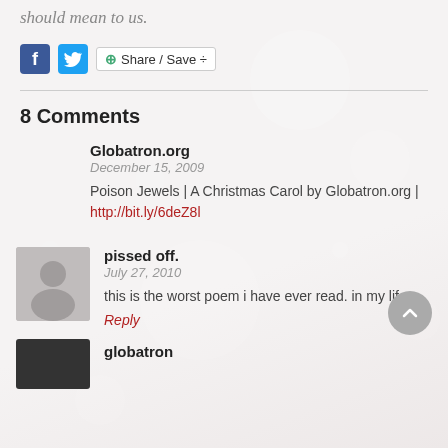should mean to us.
[Figure (screenshot): Social sharing bar with Facebook icon, Twitter icon, and Share/Save button]
8 Comments
Globatron.org
December 15, 2009
Poison Jewels | A Christmas Carol by Globatron.org | http://bit.ly/6deZ8l
pissed off.
July 27, 2010
this is the worst poem i have ever read. in my life.
Reply
globatron